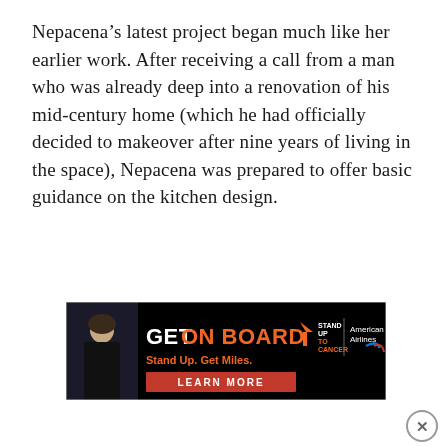Nepacena’s latest project began much like her earlier work. After receiving a call from a man who was already deep into a renovation of his mid-century home (which he had officially decided to makeover after nine years of living in the space), Nepacena was prepared to offer basic guidance on the kitchen design.
[Figure (other): Advertisement banner: GET ON BOARD - Stand Up To Cancer / American Airlines. Stand Up. Get Miles. LEARN MORE. Features a woman in a black t-shirt on the left side.]